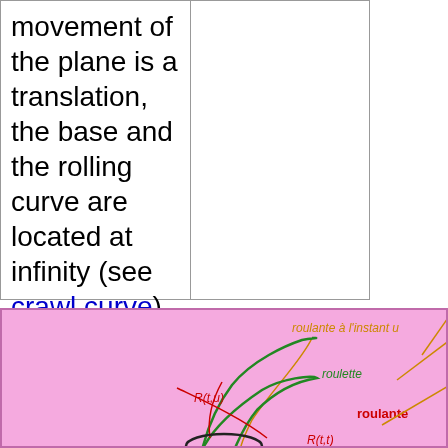movement of the plane is a translation, the base and the rolling curve are located at infinity (see crawl curve).
[Figure (illustration): Mathematical diagram on pink background showing roulette curves. Labels include: 'roulante à l'instant u' (orange), 'roulette' (green), 'R(t,u)' (red), 'roulante' (red/orange), 'R(t,t)' (red). Shows rolling curves with green roulette path, orange rolling curve at instant u, and a dark ellipse/circle base curve.]